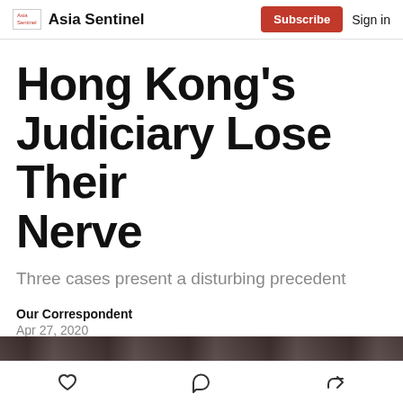Asia Sentinel | Subscribe | Sign in
Hong Kong’s Judiciary Lose Their Nerve
Three cases present a disturbing precedent
Our Correspondent
Apr 27, 2020
[Figure (photo): Partial photograph strip at bottom of article header]
Toolbar icons: like, comment, share